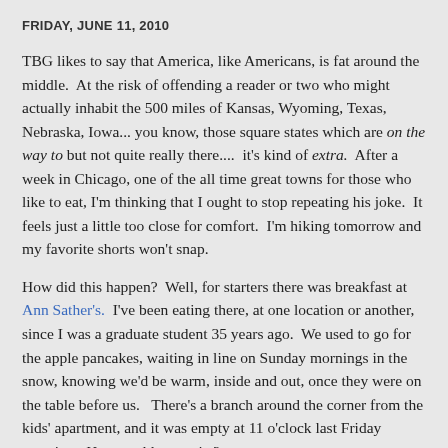FRIDAY, JUNE 11, 2010
TBG likes to say that America, like Americans, is fat around the middle.  At the risk of offending a reader or two who might actually inhabit the 500 miles of Kansas, Wyoming, Texas, Nebraska, Iowa... you know, those square states which are on the way to but not quite really there....  it's kind of extra.  After a week in Chicago, one of the all time great towns for those who like to eat, I'm thinking that I ought to stop repeating his joke.  It feels just a little too close for comfort.  I'm hiking tomorrow and my favorite shorts won't snap.
How did this happen?  Well, for starters there was breakfast at Ann Sather's.  I've been eating there, at one location or another, since I was a graduate student 35 years ago.  We used to go for the apple pancakes, waiting in line on Sunday mornings in the snow, knowing we'd be warm, inside and out, once they were on the table before us.   There's a branch around the corner from the kids' apartment, and it was empty at 11 o'clock last Friday morning.  How could we resist?
I wanted orange juice, but I couldn't resist ordering the SOB Juice...